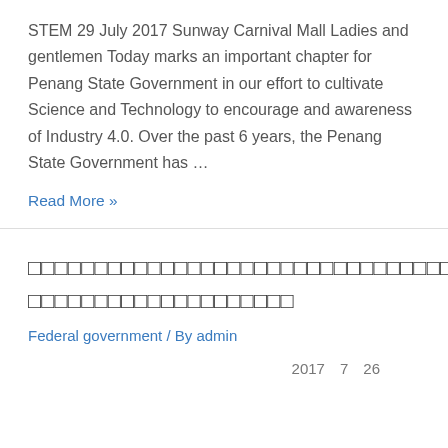STEM 29 July 2017 Sunway Carnival Mall Ladies and gentlemen Today marks an important chapter for Penang State Government in our effort to cultivate Science and Technology to encourage and awareness of Industry 4.0. Over the past 6 years, the Penang State Government has …
Read More »
□□□□□□□□□□□□□□□□□□□□□□□□□□□□□□□□□□□□□□□□□□□□□□□□□□□□□□□□□□□□□□□□
Federal government / By admin
2017　7　26